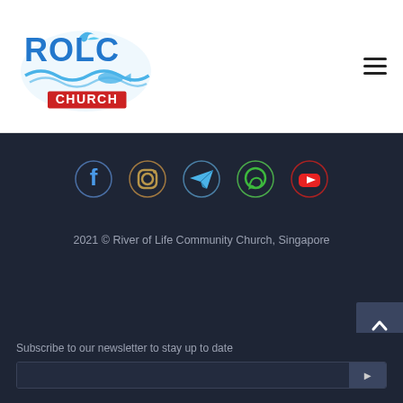[Figure (logo): ROLC Church logo — stylized blue wave with fish and dove, text 'ROLC CHURCH']
[Figure (other): Hamburger menu icon (three horizontal lines)]
[Figure (other): Social media icons row: Facebook (blue), Instagram (gold/brown), Telegram (blue), WhatsApp (green), YouTube (red)]
2021 © River of Life Community Church, Singapore
Subscribe to our newsletter to stay up to date